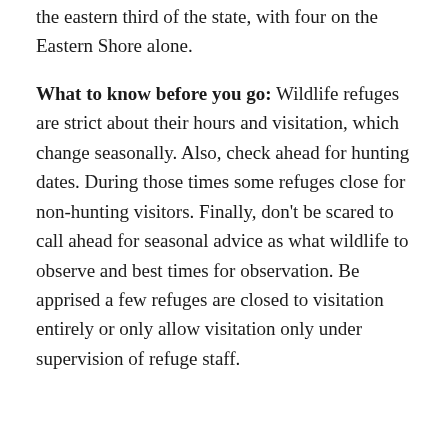All 14 of Virginia's national wildlife refuges are in the eastern third of the state, with four on the Eastern Shore alone.
What to know before you go: Wildlife refuges are strict about their hours and visitation, which change seasonally. Also, check ahead for hunting dates. During those times some refuges close for non-hunting visitors. Finally, don't be scared to call ahead for seasonal advice as what wildlife to observe and best times for observation. Be apprised a few refuges are closed to visitation entirely or only allow visitation only under supervision of refuge staff.